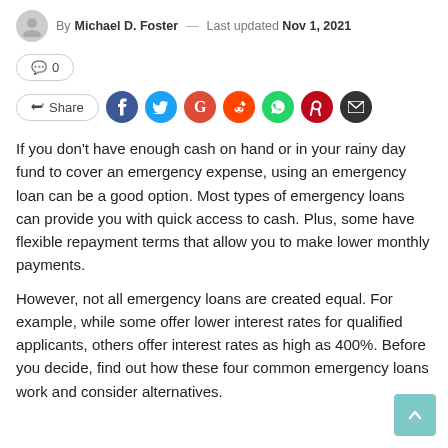By Michael D. Foster — Last updated Nov 1, 2021
💬 0
Share
If you don't have enough cash on hand or in your rainy day fund to cover an emergency expense, using an emergency loan can be a good option. Most types of emergency loans can provide you with quick access to cash. Plus, some have flexible repayment terms that allow you to make lower monthly payments.
However, not all emergency loans are created equal. For example, while some offer lower interest rates for qualified applicants, others offer interest rates as high as 400%. Before you decide, find out how these four common emergency loans work and consider alternatives.